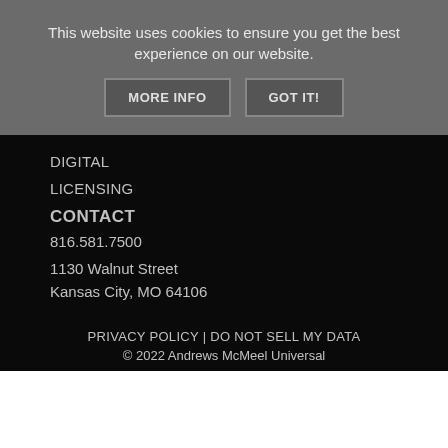This website uses cookies to ensure you get the best experience on our website.
MORE INFO
GOT IT!
DIGITAL
LICENSING
CONTACT
816.581.7500
1130 Walnut Street
Kansas City, MO 64106
PRIVACY POLICY | DO NOT SELL MY DATA
© 2022 Andrews McMeel Universal